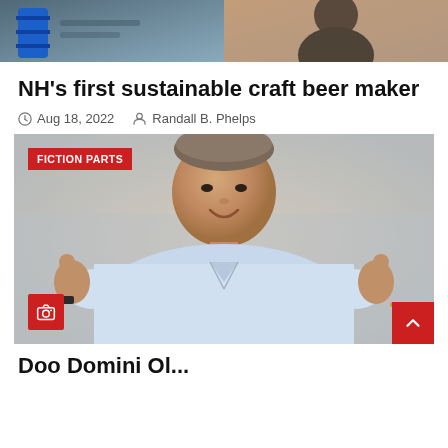[Figure (photo): Top cropped image showing two people in an indoor setting, one in a maroon shirt, one in dark clothing]
NH’s first sustainable craft beer maker
Aug 18, 2022   Randall B. Phelps
[Figure (photo): Man in light blue shirt giving two thumbs up, smiling, with FICTION PARTS badge overlay in upper left and camera icon badge in lower left]
Doo Domino Ol...